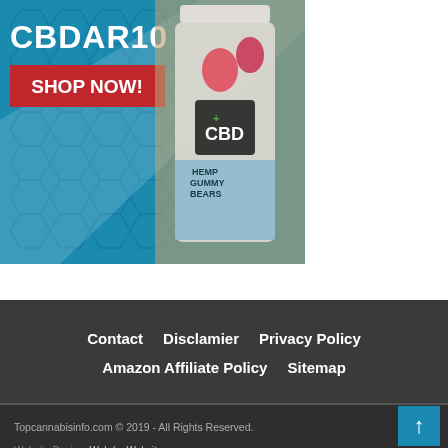[Figure (photo): CBD hemp gummy bears product advertisement with promo code CBDAR10 and Shop Now button on blue honeycomb background with product bottle]
Contact   Disclamier   Privacy Policy   Amazon Affiliate Policy   Sitemap
Topcannabisinfo.com © 2019 - All Rights Reserved.   Website Design: Webdm Websites